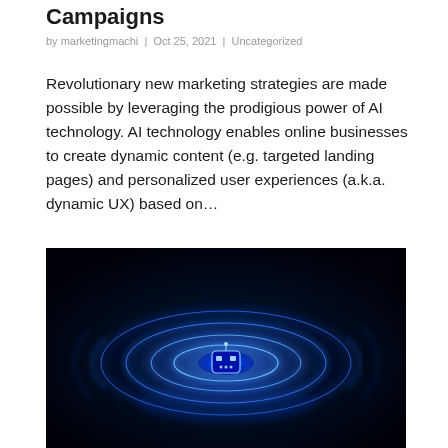Campaigns
by marketingmachi | Oct 25, 2021 | Uncategorized
Revolutionary new marketing strategies are made possible by leveraging the prodigious power of AI technology. AI technology enables online businesses to create dynamic content (e.g. targeted landing pages) and personalized user experiences (a.k.a. dynamic UX) based on…
[Figure (photo): Dark blue background with glowing blue neon light rings swirling around a central AI robot face icon, suggesting artificial intelligence technology]